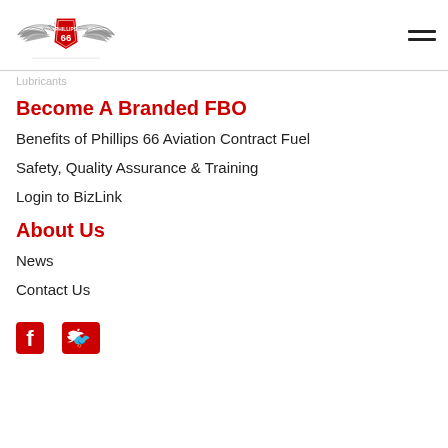Phillips 66 Aviation logo and navigation menu
Lubricants
Become A Branded FBO
Benefits of Phillips 66 Aviation Contract Fuel
Safety, Quality Assurance & Training
Login to BizLink
About Us
News
Contact Us
[Figure (logo): Social media icons: Facebook and Twitter]